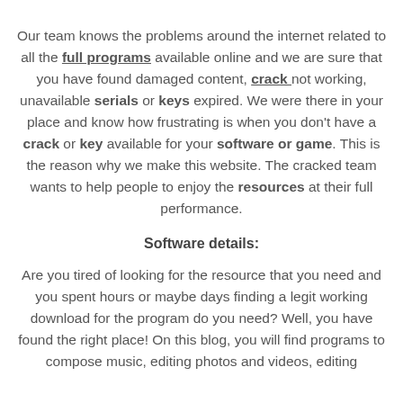Our team knows the problems around the internet related to all the full programs available online and we are sure that you have found damaged content, crack not working, unavailable serials or keys expired. We were there in your place and know how frustrating is when you don't have a crack or key available for your software or game. This is the reason why we make this website. The cracked team wants to help people to enjoy the resources at their full performance.
Software details:
Are you tired of looking for the resource that you need and you spent hours or maybe days finding a legit working download for the program do you need? Well, you have found the right place! On this blog, you will find programs to compose music, editing photos and videos, editing